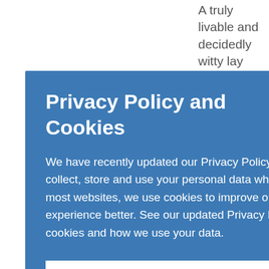A truly livable and decidedly witty lay spirituality from the ng ellectual From his ohy, y Joy, and assics, The of Narnia;...
ld ring C. S. ologian artin Sutherland
Privacy Policy and Cookies
We have recently updated our Privacy Policy. This outlines how and why we collect, store and use your personal data when you use our website. Like most websites, we use cookies to improve our service and make your user experience better. See our updated Privacy Policy to find out more about cookies and how we use your data.
OKAY, THANKS